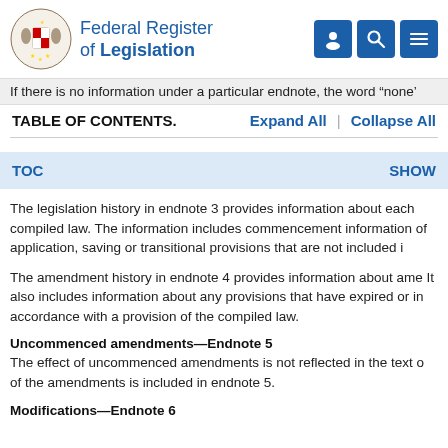Federal Register of Legislation
If there is no information under a particular endnote, the word “none”
TABLE OF CONTENTS.
TOC    SHOW
The legislation history in endnote 3 provides information about each compiled law. The information includes commencement information of application, saving or transitional provisions that are not included i
The amendment history in endnote 4 provides information about ame It also includes information about any provisions that have expired or in accordance with a provision of the compiled law.
Uncommenced amendments—Endnote 5
The effect of uncommenced amendments is not reflected in the text o of the amendments is included in endnote 5.
Modifications—Endnote 6